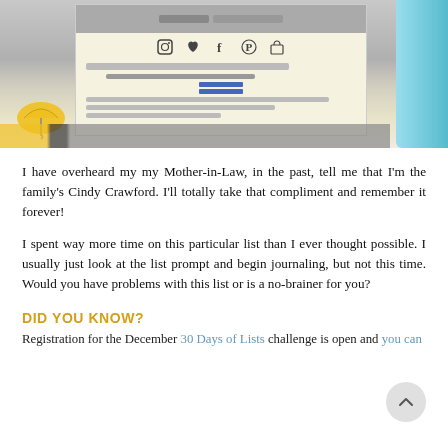[Figure (photo): Photo of a planner/teacher gradebook with social media icons (Instagram, heart, Facebook, Pinterest, shopping bag), yellow umbrella decoration visible on the left, a teal pen on the right, and the planner sitting on a light surface.]
I have overheard my my Mother-in-Law, in the past, tell me that I'm the family's Cindy Crawford. I'll totally take that compliment and remember it forever!
I spent way more time on this particular list than I ever thought possible. I usually just look at the list prompt and begin journaling, but not this time. Would you have problems with this list or is a no-brainer for you?
DID YOU KNOW?
Registration for the December 30 Days of Lists challenge is open and you can